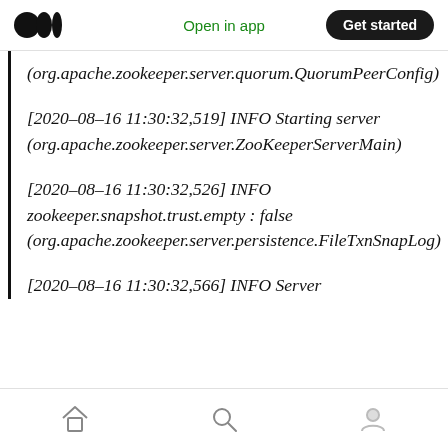Open in app | Get started
(org.apache.zookeeper.server.quorum.QuorumPeerConfig)
[2020–08–16 11:30:32,519] INFO Starting server (org.apache.zookeeper.server.ZooKeeperServerMain)
[2020–08–16 11:30:32,526] INFO zookeeper.snapshot.trust.empty : false (org.apache.zookeeper.server.persistence.FileTxnSnapLog)
[2020–08–16 11:30:32,566] INFO Server
Home | Search | Profile